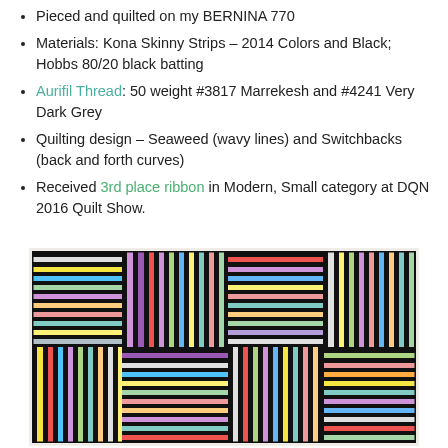Pieced and quilted on my BERNINA 770
Materials: Kona Skinny Strips – 2014 Colors and Black; Hobbs 80/20 black batting
Aurifil Thread: 50 weight #3817 Marrekesh and #4241 Very Dark Grey
Quilting design – Seaweed (wavy lines) and Switchbacks (back and forth curves)
Received 3rd place ribbon in Modern, Small category at DQN 2016 Quilt Show.
[Figure (photo): A colorful modern quilt with skinny strips of many colors arranged in alternating horizontal and vertical block sections on a black background.]